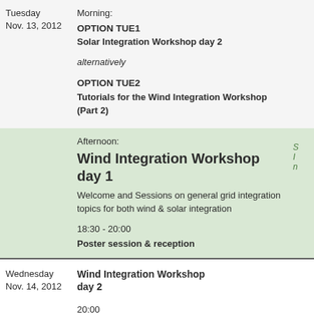Tuesday Nov. 13, 2012
Morning:
OPTION TUE1
Solar Integration Workshop day 2
alternatively
OPTION TUE2
Tutorials for the Wind Integration Workshop (Part 2)
Afternoon:
Wind Integration Workshop day 1
Welcome and Sessions on general grid integration topics for both wind & solar integration
18:30 - 20:00
Poster session & reception
Wednesday Nov. 14, 2012
Wind Integration Workshop day 2
20:00